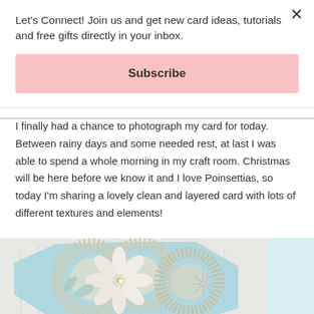Let's Connect! Join us and get new card ideas, tutorials and free gifts directly in your inbox.
Subscribe
I finally had a chance to photograph my card for today. Between rainy days and some needed rest, at last I was able to spend a whole morning in my craft room. Christmas will be here before we know it and I love Poinsettias, so today I'm sharing a lovely clean and layered card with lots of different textures and elements!
[Figure (photo): A handmade Christmas card featuring layered poinsettia flowers in cream and white tones with lace doilies on a light blue patterned background.]